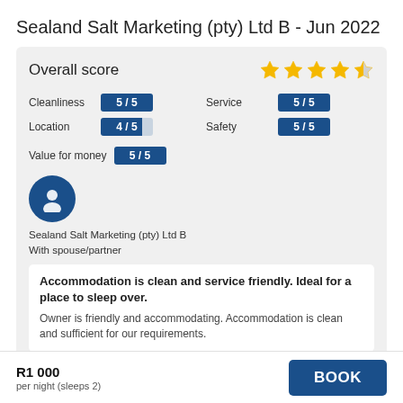Sealand Salt Marketing (pty) Ltd B - Jun 2022
Overall score
[Figure (infographic): 4.5 star rating shown as 4 full gold stars and 1 half gold star]
| Category | Score | Category | Score |
| --- | --- | --- | --- |
| Cleanliness | 5/5 | Service | 5/5 |
| Location | 4/5 | Safety | 5/5 |
| Value for money | 5/5 |  |  |
[Figure (illustration): Blue circular avatar icon with a person silhouette]
Sealand Salt Marketing (pty) Ltd B
With spouse/partner
Accommodation is clean and service friendly. Ideal for a place to sleep over.
Owner is friendly and accommodating. Accommodation is clean and sufficient for our requirements.
R1 000
per night (sleeps 2)
BOOK